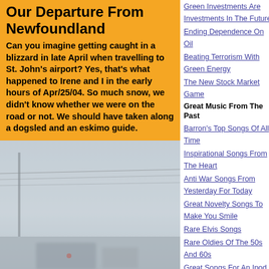Our Departure From Newfoundland
Can you imagine getting caught in a blizzard in late April when travelling to St. John's airport? Yes, that's what happened to Irene and I in the early hours of Apr/25/04. So much snow, we didn't know whether we were on the road or not. We should have taken along a dogsled and an eskimo guide.
[Figure (photo): Blizzard conditions on road, very low visibility, grey snowy atmosphere with indistinct vehicles/structures]
Green Investments Are Investments In The Future
Ending Dependence On Oil
Beating Terrorism With Green Energy
The New Stock Market Game
Great Music From The Past
Barron's Top Songs Of All Time
Inspirational Songs From The Heart
Anti War Songs From Yesterday For Today
Great Novelty Songs To Make You Smile
Rare Elvis Songs
Rare Oldies Of The 50s And 60s
Great Songs For An Ipod
The Beginning Of Rock And Roll Dancing
Michael Jackson And Fred Astaire
Off Beat Stuff
Beware Of The Toilet